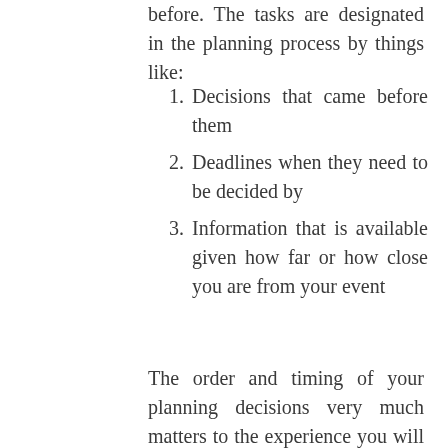before. The tasks are designated in the planning process by things like:
Decisions that came before them
Deadlines when they need to be decided by
Information that is available given how far or how close you are from your event
The order and timing of your planning decisions very much matters to the experience you will have. This is where the strategy of wedding